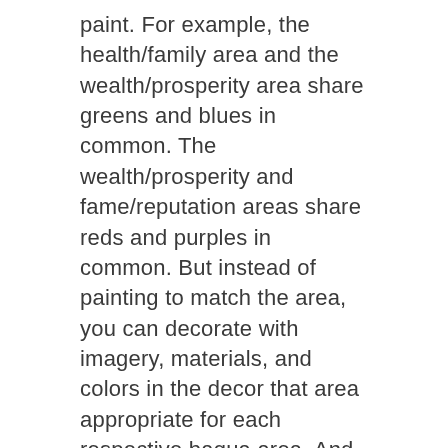paint. For example, the health/family area and the wealth/prosperity area share greens and blues in common. The wealth/prosperity and fame/reputation areas share reds and purples in common. But instead of painting to match the area, you can decorate with imagery, materials, and colors in the decor that area appropriate for each respective bagua area. And they can feel continuous – you don't have to create a distinct design style where one